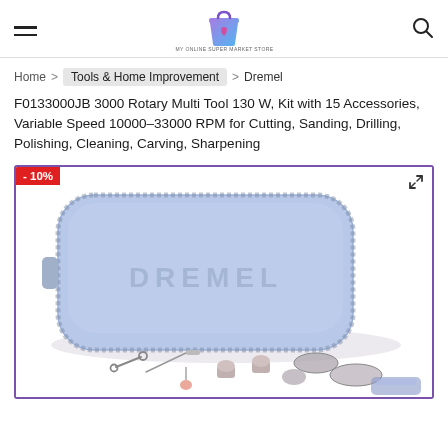MY ONLINE SUPER MARKET STORE — navigation header with hamburger menu, logo, and search icon
Home > Tools & Home Improvement > Dremel
F0133000JB 3000 Rotary Multi Tool 130 W, Kit with 15 Accessories, Variable Speed 10000-33000 RPM for Cutting, Sanding, Drilling, Polishing, Cleaning, Carving, Sharpening
[Figure (photo): Product photo of a Dremel blue carrying case (hard-shell, with DREMEL embossed on front, zipper around edges), with various rotary tool accessories (wrench, sanding discs, grinding stones, cutting wheels) arranged in front of it on a white background. A -10% discount badge is shown in the top-left corner of the image frame.]